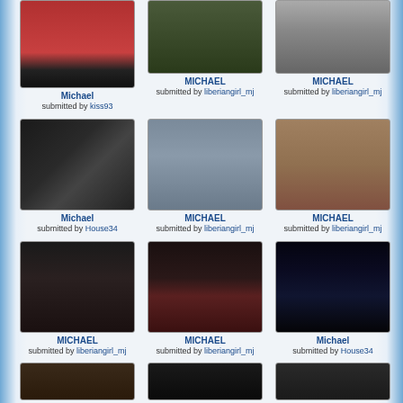[Figure (photo): Michael Jackson in suit against red backdrop]
Michael
submitted by kiss93
[Figure (photo): MICHAEL - person in dark outdoors]
MICHAEL
submitted by liberiangirl_mj
[Figure (photo): MICHAEL - black and white portrait]
MICHAEL
submitted by liberiangirl_mj
[Figure (photo): Michael in dark hat and suit]
Michael
submitted by House34
[Figure (photo): MICHAEL - group photo with family]
MICHAEL
submitted by liberiangirl_mj
[Figure (photo): MICHAEL - vintage photo as young man]
MICHAEL
submitted by liberiangirl_mj
[Figure (photo): MICHAEL - at event with woman]
MICHAEL
submitted by liberiangirl_mj
[Figure (photo): MICHAEL - in hat biting fingers, red jacket, timestamp M12:47]
MICHAEL
submitted by liberiangirl_mj
[Figure (photo): Michael - concert stage with lights and performers]
Michael
submitted by House34
[Figure (photo): Partial photo cropped at bottom of page]
[Figure (photo): Partial photo cropped at bottom of page]
[Figure (photo): Partial photo cropped at bottom of page]